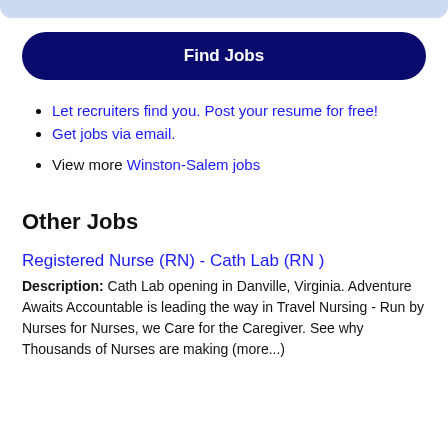Find Jobs
Let recruiters find you. Post your resume for free!
Get jobs via email.
View more Winston-Salem jobs
Other Jobs
Registered Nurse (RN) - Cath Lab (RN )
Description: Cath Lab opening in Danville, Virginia. Adventure Awaits Accountable is leading the way in Travel Nursing - Run by Nurses for Nurses, we Care for the Caregiver. See why Thousands of Nurses are making (more...)